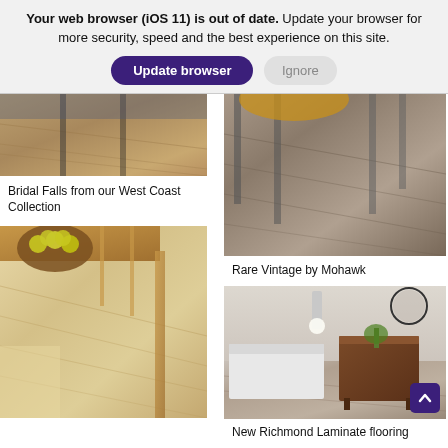Your web browser (iOS 11) is out of date. Update your browser for more security, speed and the best experience on this site.
[Figure (screenshot): Browser update banner with two buttons: 'Update browser' (dark purple rounded) and 'Ignore' (grey rounded)]
[Figure (photo): Bridal Falls flooring in a dining room setting, warm wood tones]
Bridal Falls from our West Coast Collection
[Figure (photo): Light wood laminate flooring with a dining table and apples in a bowl overhead view]
[Figure (photo): Rare Vintage by Mohawk grey/brown wood flooring with chairs]
Rare Vintage by Mohawk
[Figure (photo): New Richmond Laminate flooring in a bathroom/bedroom with dark wood dresser and mirror]
New Richmond Laminate flooring